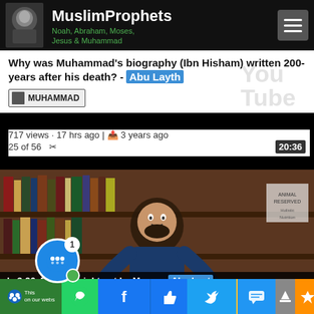MuslimProphets — Noah, Abraham, Moses, Jesus & Muhammad
Why was Muhammad's biography (Ibn Hisham) written 200-years after his death? - Abu Layth
717 views · 17 hrs ago | 3 years ago
25 of 56
[Figure (screenshot): YouTube video thumbnail showing a man with a beard in a blue t-shirt, smiling with hands raised, seated in front of a large bookshelf filled with books]
3:96, Bakkah might not be Mecca - Abu Layth
Social sharing bar: WhatsApp, Facebook, Like, Twitter, SMS, scroll-up, crown